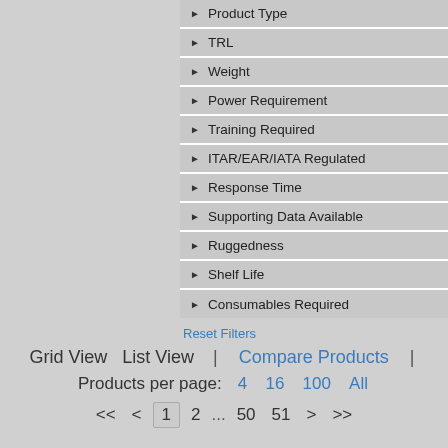Product Type
TRL
Weight
Power Requirement
Training Required
ITAR/EAR/IATA Regulated
Response Time
Supporting Data Available
Ruggedness
Shelf Life
Consumables Required
Reset Filters
Grid View   List View   |   Compare Products   |   Products per page:  4  16  100  All
<<  <  1  2  ...  50  51  >  >>